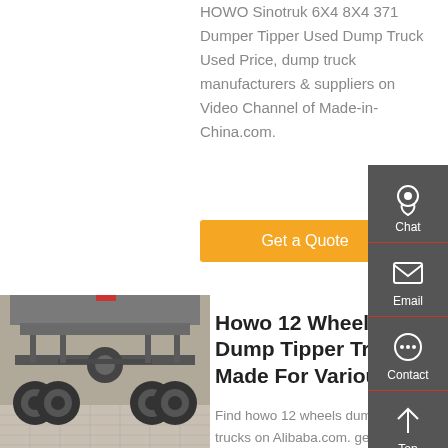HOWO Sinotruk 6X4 8X4 371 Dumper Tipper Used Dump Truck Used Price, dump truck manufacturers & suppliers on Video Channel of Made-in-China.com.
Get a Quote
[Figure (photo): Undercarriage view of a heavy dump truck showing axles and wheels from below]
Howo 12 Wheels Dump Tipper Truck Made For Various
Find howo 12 wheels dump tipper trucks on Alibaba.com. get vehicles for your personal or